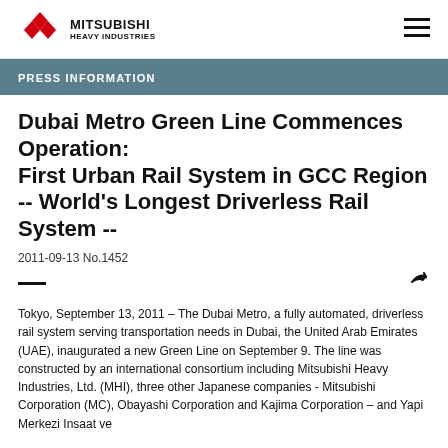MITSUBISHI HEAVY INDUSTRIES
PRESS INFORMATION
Dubai Metro Green Line Commences Operation: First Urban Rail System in GCC Region -- World's Longest Driverless Rail System --
2011-09-13 No.1452
Tokyo, September 13, 2011 – The Dubai Metro, a fully automated, driverless rail system serving transportation needs in Dubai, the United Arab Emirates (UAE), inaugurated a new Green Line on September 9. The line was constructed by an international consortium including Mitsubishi Heavy Industries, Ltd. (MHI), three other Japanese companies - Mitsubishi Corporation (MC), Obayashi Corporation and Kajima Corporation – and Yapi Merkezi Insaat ve